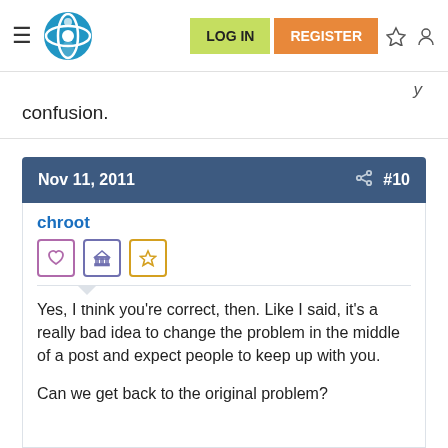LOG IN | REGISTER
confusion.
Nov 11, 2011  #10
chroot
Yes, I think you're correct, then. Like I said, it's a really bad idea to change the problem in the middle of a post and expect people to keep up with you.
Can we get back to the original problem?